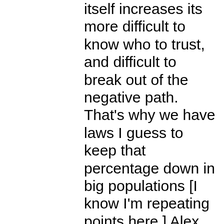itself increases its more difficult to know who to trust, and difficult to break out of the negative path. That's why we have laws I guess to keep that percentage down in big populations [I know I'm repeating points here.] Alex @ 68 + 80 I think that your point about high quality, intelligent scripts is important for interesting characters and their interactions. So a writer that thinks about their work, is more likely to pass this test and others (FMT) or what ever we